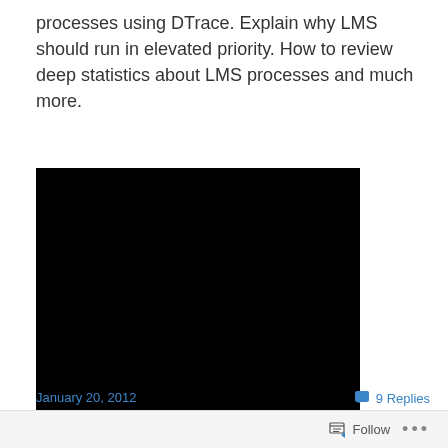processes using DTrace. Explain why LMS should run in elevated priority. How to review deep statistics about LMS processes and much more.
[Figure (photo): A black rectangle representing an embedded video or image placeholder]
January 20, 2012
9 Replies
Follow ...